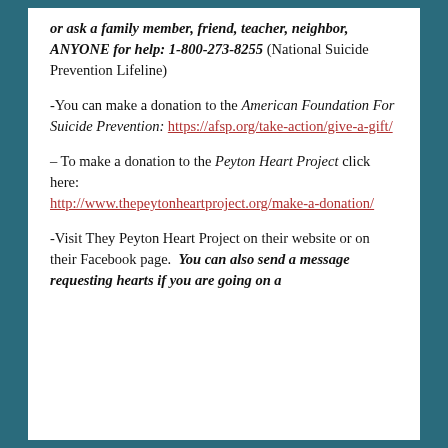or ask a family member, friend, teacher, neighbor, ANYONE for help: 1-800-273-8255 (National Suicide Prevention Lifeline)
-You can make a donation to the American Foundation For Suicide Prevention: https://afsp.org/take-action/give-a-gift/
– To make a donation to the Peyton Heart Project click here: http://www.thepeytonheartproject.org/make-a-donation/
-Visit They Peyton Heart Project on their website or on their Facebook page. You can also send a message requesting hearts if you are going on a